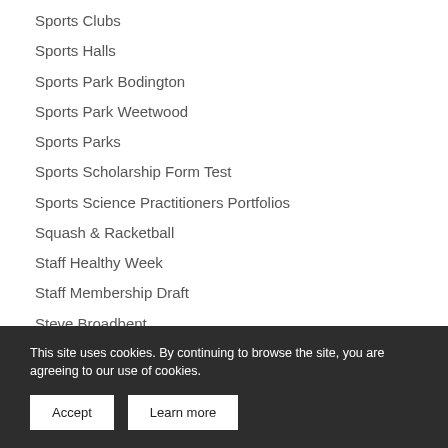Sports Clubs
Sports Halls
Sports Park Bodington
Sports Park Weetwood
Sports Parks
Sports Scholarship Form Test
Sports Science Practitioners Portfolios
Squash & Racketball
Staff Healthy Week
Staff Membership Draft
Steve Broadbent
Strategy
Student (other institution) draft
Student membership draft
Student Sports
Support Servic
This site uses cookies. By continuing to browse the site, you are agreeing to our use of cookies.